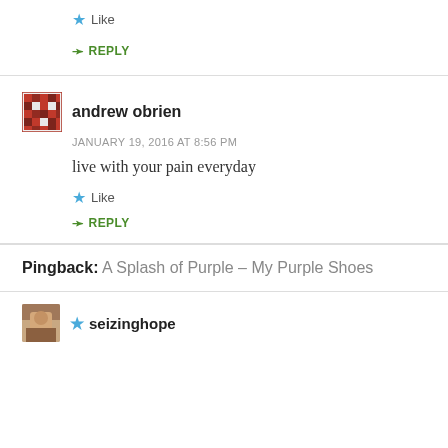Like
REPLY
andrew obrien
JANUARY 19, 2016 AT 8:56 PM
live with your pain everyday
Like
REPLY
Pingback: A Splash of Purple – My Purple Shoes
seizinghope